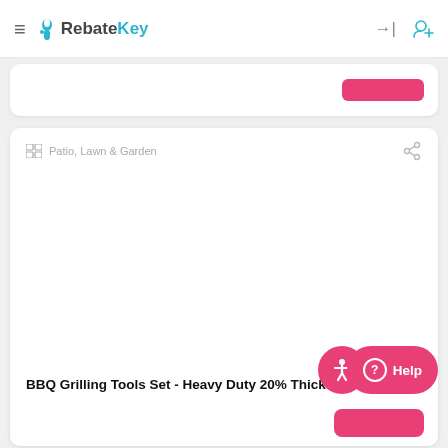RebateKey
Patio, Lawn & Garden
BBQ Grilling Tools Set - Heavy Duty 20% Thicker Stai...